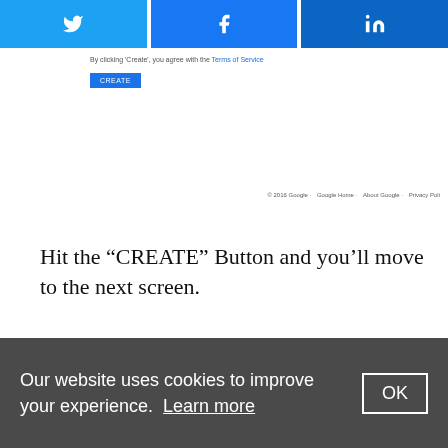[Figure (screenshot): Screenshot of a web page showing social login buttons (Twitter, Facebook, LinkedIn), a Terms of Service note, a CREATE button, and a Google footer with links.]
Hit the “CREATE” Button and you’ll move to the next screen.
NOTE: Some sites require less fancy syntax. Just remember to start with *. and end with /* to look for everything on a specific it...
Our website uses cookies to improve your experience. Learn more